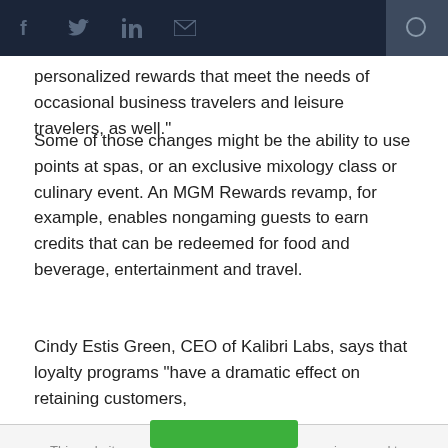[Navigation bar with social icons: Facebook, Twitter, LinkedIn, Email, and search]
personalized rewards that meet the needs of occasional business travelers and leisure travelers, as well."
Some of those changes might be the ability to use points at spas, or an exclusive mixology class or culinary event. An MGM Rewards revamp, for example, enables nongaming guests to earn credits that can be redeemed for food and beverage, entertainment and travel.
Cindy Estis Green, CEO of Kalibri Labs, says that loyalty programs "have a dramatic effect on retaining customers,
This website uses cookies to enhance user experience and to analyze performance and traffic on our website. By using this site, you agree to the use of cookies. You may change your cookie settings at any time, but the site may not function properly.  Cookie Policy